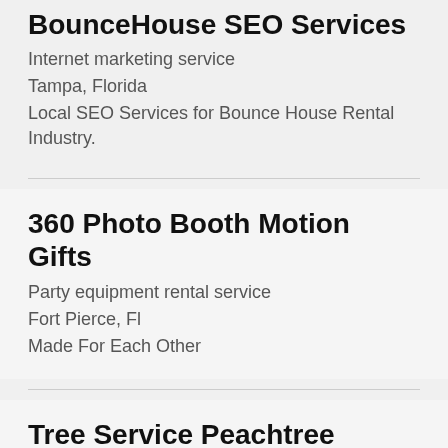BounceHouse SEO Services
Internet marketing service
Tampa, Florida
Local SEO Services for Bounce House Rental Industry.
360 Photo Booth Motion Gifts
Party equipment rental service
Fort Pierce, Fl
Made For Each Other
Tree Service Peachtree Corners
Tree service
Norcross, Georgia